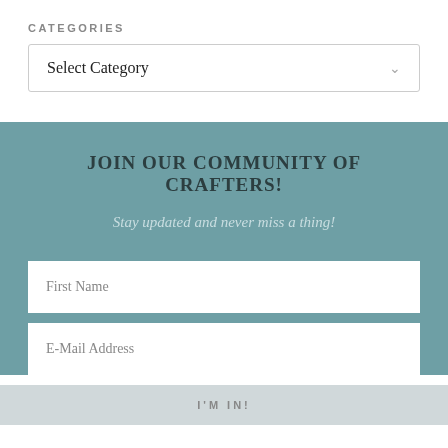CATEGORIES
Select Category
JOIN OUR COMMUNITY OF CRAFTERS!
Stay updated and never miss a thing!
First Name
E-Mail Address
I'M IN!